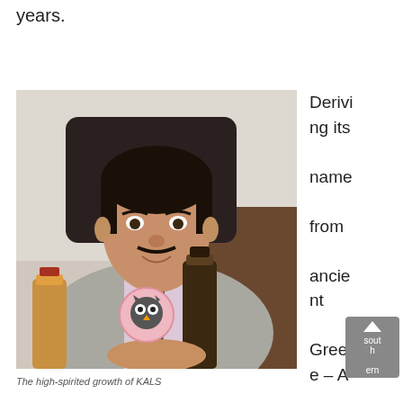years.
[Figure (photo): A man in a grey suit and dark tie sitting at a desk with liquor bottles and an owl brand logo circle in the foreground]
The high-spirited growth of KALS
Deriving its name from ancient Greece – A city in the southern P...